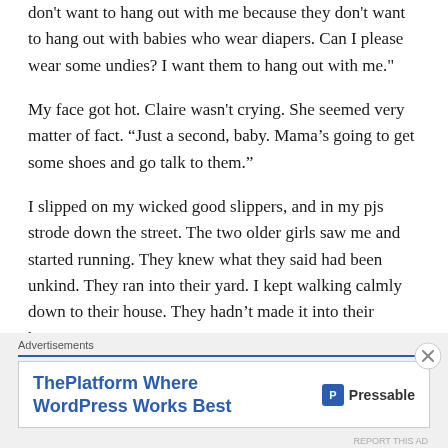don't want to hang out with me because they don't want to hang out with babies who wear diapers. Can I please wear some undies? I want them to hang out with me."
My face got hot. Claire wasn't crying. She seemed very matter of fact. “Just a second, baby. Mama’s going to get some shoes and go talk to them."
I slipped on my wicked good slippers, and in my pjs strode down the street. The two older girls saw me and started running. They knew what they said had been unkind. They ran into their yard. I kept walking calmly down to their house. They hadn't made it into their houses yet.
Advertisements
[Figure (other): Advertisement banner for Pressable: 'ThePlatform Where WordPress Works Best' with Pressable logo]